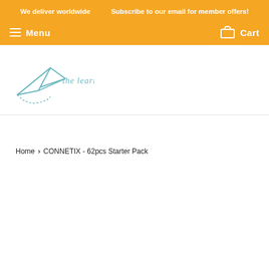We deliver worldwide    Subscribe to our email for member offers!
Menu    Cart
[Figure (logo): The Learning Curve logo: paper airplane icon with hand-drawn style text 'the learning curve' in teal/blue color]
Home > CONNETIX - 62pcs Starter Pack